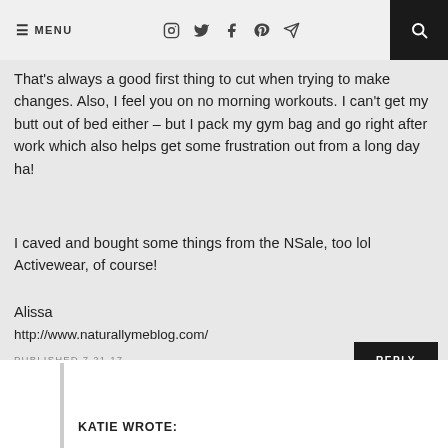☰ MENU  [icons: instagram, twitter, facebook, pinterest, send]  [search]
That's always a good first thing to cut when trying to make changes. Also, I feel you on no morning workouts. I can't get my butt out of bed either – but I pack my gym bag and go right after work which also helps get some frustration out from a long day ha!
I caved and bought some things from the NSale, too lol Activewear, of course!
Alissa
http://www.naturallymeblog.com/
PUBLISHED 7.21.17
REPLY
KATIE WROTE: